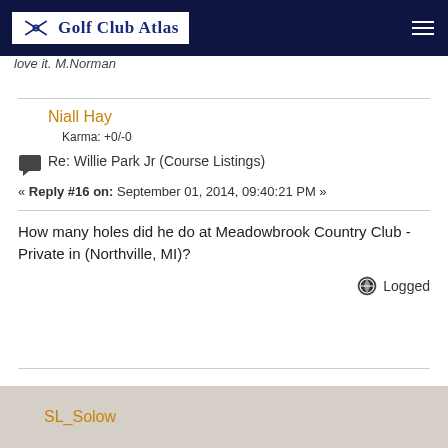Golf Club Atlas
love it.  M.Norman
Niall Hay
Karma: +0/-0
Re: Willie Park Jr (Course Listings)
« Reply #16 on: September 01, 2014, 09:40:21 PM »
How many holes did he do at Meadowbrook Country Club - Private in (Northville, MI)?
Logged
SL_Solow